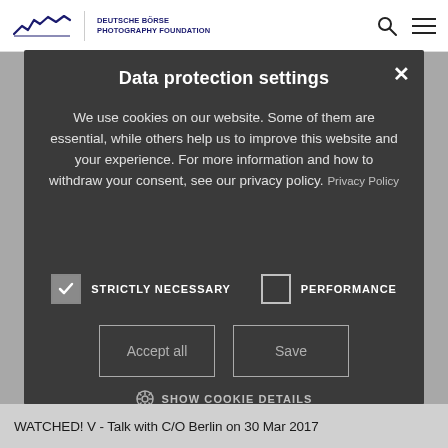DEUTSCHE BÖRSE PHOTOGRAPHY FOUNDATION
Data protection settings
We use cookies on our website. Some of them are essential, while others help us to improve this website and your experience. For more information and how to withdraw your consent, see our privacy policy. Privacy Policy
STRICTLY NECESSARY   PERFORMANCE
Accept all   Save
SHOW COOKIE DETAILS
WATCHED! V - Talk with C/O Berlin on 30 Mar 2017